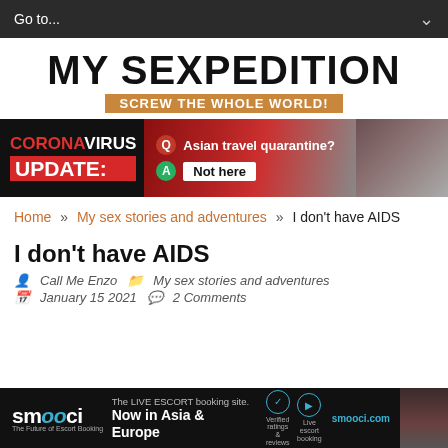Go to...
MY SEXPEDITION
SCREW THE WHOLE WORLD!
[Figure (infographic): Coronavirus Update banner ad with Q: Asian travel quarantine? A: Not here, with image of woman in mask]
Home » My sex stories and adventures » I don't have AIDS
I don't have AIDS
Call Me Enzo   My sex stories and adventures
January 15 2021   2 Comments
[Figure (infographic): Smooci - The LIVE ESCORT booking site. Now in Asia & Europe. smooci.com]